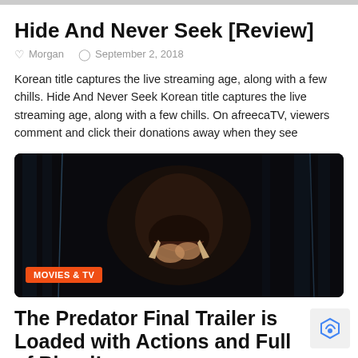Hide And Never Seek [Review]
Morgan   September 2, 2018
Korean title captures the live streaming age, along with a few chills. Hide And Never Seek Korean title captures the live streaming age, along with a few chills. On afreecaTV, viewers comment and click their donations away when they see
[Figure (photo): Dark movie still showing a creature or alien face with mouth open, likely from The Predator film. Orange badge in bottom-left reads MOVIES & TV.]
The Predator Final Trailer is Loaded with Actions and Full of Blood!
fleshcuts   September 1, 2018